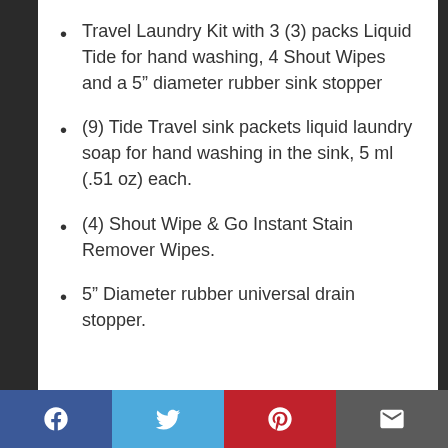Travel Laundry Kit with 3 (3) packs Liquid Tide for hand washing, 4 Shout Wipes and a 5” diameter rubber sink stopper
(9) Tide Travel sink packets liquid laundry soap for hand washing in the sink, 5 ml (.51 oz) each.
(4) Shout Wipe & Go Instant Stain Remover Wipes.
5” Diameter rubber universal drain stopper.